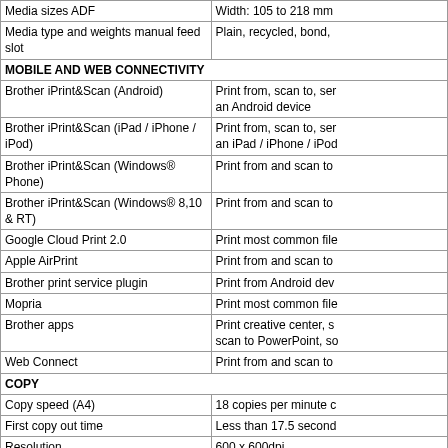| Feature | Description |
| --- | --- |
| Media sizes ADF | Width: 105 to 218 mm |
| Media type and weights manual feed slot | Plain, recycled, bond, |
| MOBILE AND WEB CONNECTIVITY |  |
| Brother iPrint&Scan (Android) | Print from, scan to, send an Android device |
| Brother iPrint&Scan (iPad / iPhone / iPod) | Print from, scan to, send an iPad / iPhone / iPod |
| Brother iPrint&Scan (Windows® Phone) | Print from and scan to |
| Brother iPrint&Scan (Windows® 8,10 & RT) | Print from and scan to |
| Google Cloud Print 2.0 | Print most common file |
| Apple AirPrint | Print from and scan to |
| Brother print service plugin | Print from Android dev |
| Mopria | Print most common file |
| Brother apps | Print creative center, scan to PowerPoint, so |
| Web Connect | Print from and scan to |
| COPY |  |
| Copy speed (A4) | 18 copies per minute c |
| First copy out time | Less than 17.5 second |
| Resolution | 600 x 600dpi |
| Multi-copying/stack/sort | Makes up to 99 copies |
| Enlargement/reduction ratio | Reduce or increase do |
| N in 1 copying | Allows the user to com |
| 2 in 1 ID copying | Allows the user to cop |
| Grey scale | 256 shades of grey (8 |
| Receipt copying | Produces clearer copie |
| Enlarge text copy | Makes reading copied |